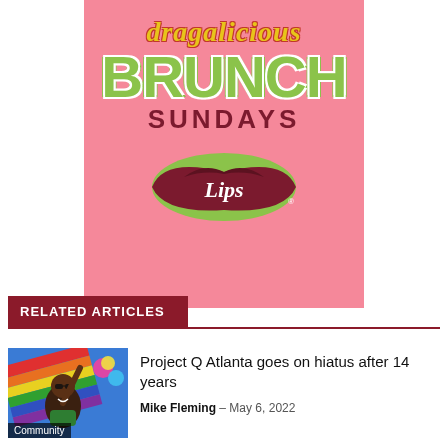[Figure (illustration): Advertisement for 'Dragalicious Brunch Sundays' at Lips restaurant. Pink background with stylized text: 'dragalicious' in yellow italic script with red outline, 'BRUNCH' in large green bold letters, 'SUNDAYS' in dark red spaced letters, and the Lips restaurant logo (dark red lip shape with 'Lips' script and registered trademark symbol) with green outline.]
RELATED ARTICLES
[Figure (photo): Photo of a person raising their arm holding a rainbow Pride flag, smiling and wearing sunglasses, with colorful balloons in the background. A 'Community' label badge appears at the bottom left.]
Project Q Atlanta goes on hiatus after 14 years
Mike Fleming - May 6, 2022